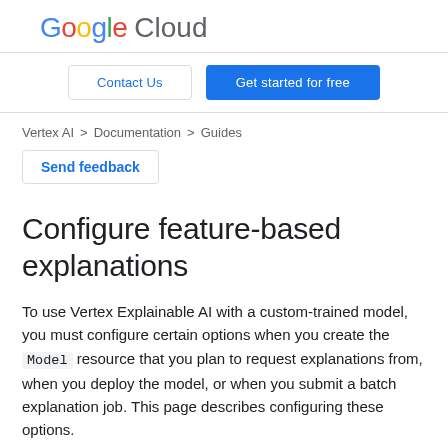Google Cloud
Contact Us | Get started for free
Vertex AI > Documentation > Guides
Send feedback
Configure feature-based explanations
To use Vertex Explainable AI with a custom-trained model, you must configure certain options when you create the Model resource that you plan to request explanations from, when you deploy the model, or when you submit a batch explanation job. This page describes configuring these options.